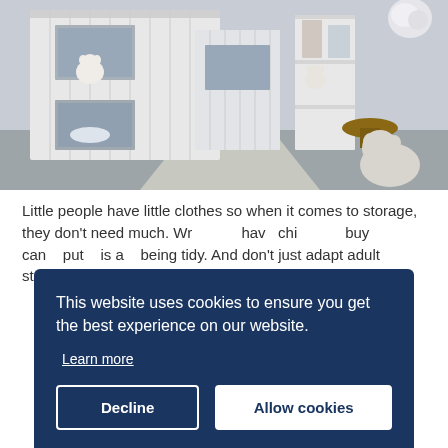[Figure (photo): Children's bedroom with white bunk beds styled as small houses/cubbies, stuffed animal toys visible on beds and floor, white shelving unit with decorative items, wooden side table, light gray carpet floor, natural sunlight casting shadows]
Little people have little clothes so when it comes to storage, they don't need much. Wr... have... chi... buy... can... put... is a... being tidy. And don't just adapt adult storage:
This website uses cookies to ensure you get the best experience on our website.
Learn more
Decline
Allow cookies